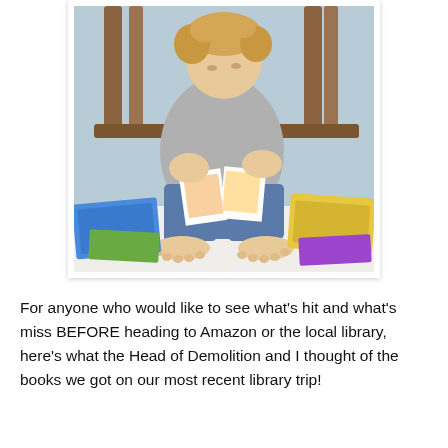[Figure (photo): A toddler with curly blonde hair wearing a grey long-sleeve shirt and jeans sits barefoot on a white surface surrounded by colorful board books. The child is looking down and turning pages of an open picture book. A wooden chair back is visible behind the child. Multiple children's books are scattered around.]
For anyone who would like to see what's hit and what's miss BEFORE heading to Amazon or the local library, here's what the Head of Demolition and I thought of the books we got on our most recent library trip!